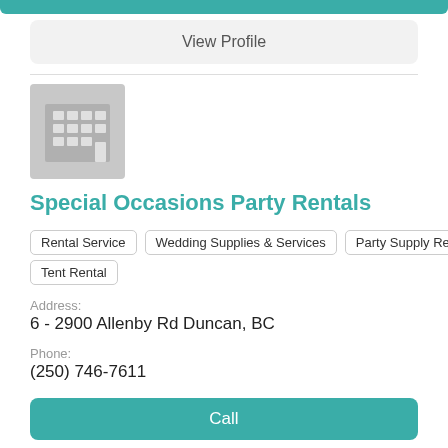View Profile
[Figure (illustration): Gray building/company placeholder icon with grid of windows and a door]
Special Occasions Party Rentals
Rental Service
Wedding Supplies & Services
Party Supply Rentals
Tent Rental
Address:
6 - 2900 Allenby Rd Duncan, BC
Phone:
(250) 746-7611
Call
View Profile